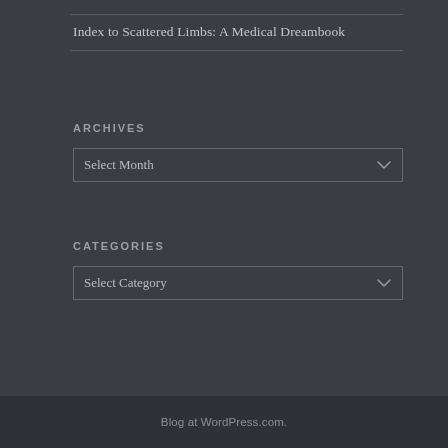Index to Scattered Limbs: A Medical Dreambook
ARCHIVES
Select Month
CATEGORIES
Select Category
Blog at WordPress.com.